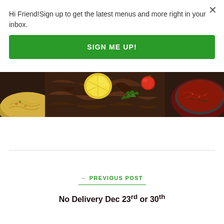Hi Friend!Sign up to get the latest menus and more right in your inbox.
SIGN ME UP!
[Figure (photo): A food photo strip showing bowls of cooked dishes including pasta/rice, braised meat, lemon, tomato, herbs, and a bowl of red sauce.]
← PREVIOUS POST
No Delivery Dec 23rd or 30th